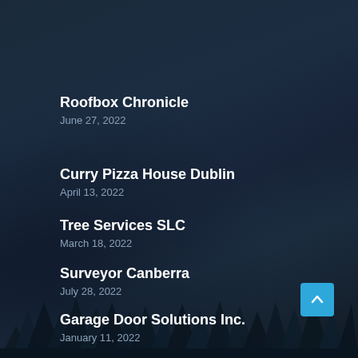Roofbox Chronicle
June 27, 2022
Curry Pizza House Dublin
April 13, 2022
Tree Services SLC
March 18, 2022
Surveyor Canberra
July 28, 2022
Garage Door Solutions Inc.
January 11, 2022
[Figure (illustration): Dark night sky background with tree silhouettes at the bottom and a scroll-to-top button in the lower right corner]